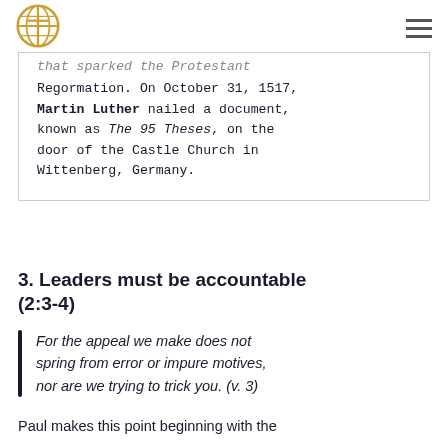[Logo] [Hamburger menu]
…that sparked the Protestant Reformation. On October 31, 1517, Martin Luther nailed a document, known as The 95 Theses, on the door of the Castle Church in Wittenberg, Germany.
3. Leaders must be accountable (2:3-4)
For the appeal we make does not spring from error or impure motives, nor are we trying to trick you. (v. 3)
Paul makes this point beginning with the